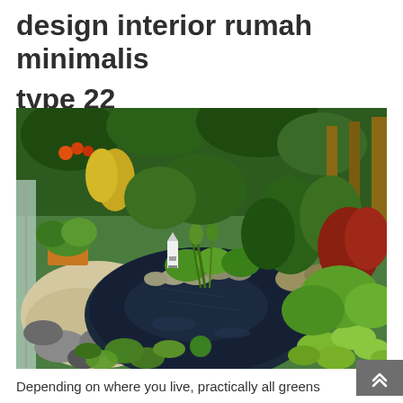design interior rumah minimalis type 22
[Figure (photo): A lush garden with a decorative pond featuring rocks, water lily pads, green aquatic plants, a small lighthouse ornament, and surrounding dense tropical greenery.]
Depending on where you live, practically all greens